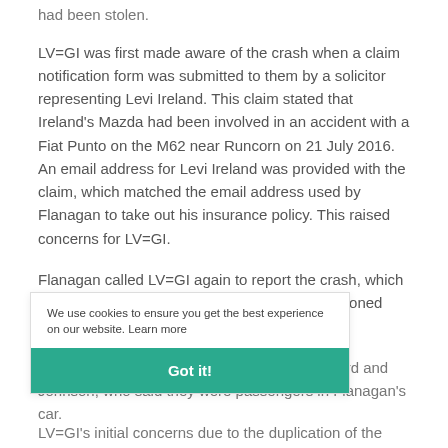had been stolen.
LV=GI was first made aware of the crash when a claim notification form was submitted to them by a solicitor representing Levi Ireland. This claim stated that Ireland's Mazda had been involved in an accident with a Fiat Punto on the M62 near Runcorn on 21 July 2016. An email address for Levi Ireland was provided with the claim, which matched the email address used by Flanagan to take out his insurance policy. This raised concerns for LV=GI.
Flanagan called LV=GI again to report the crash, which had allegedly happened two days before he phoned LV=GI to report his Fiat Punto had been stolen.
Subsequent injury claims were made by Howard and Johnson, who said they were passengers in Flanagan's car.
LV=GI's initial concerns due to the duplication of the